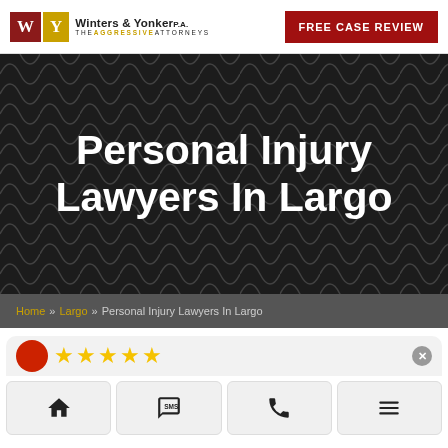[Figure (logo): Winters & Yonker PA law firm logo with W and Y initials in colored boxes and tagline 'The Aggressive Attorneys']
FREE CASE REVIEW
[Figure (illustration): Dark patterned hero background with geometric wave pattern]
Personal Injury Lawyers In Largo
Home » Largo » Personal Injury Lawyers In Largo
[Figure (infographic): Review widget with red circle avatar, 5 gold stars, and close button]
[Figure (infographic): Bottom navigation bar with home, SMS, phone, and menu icons]